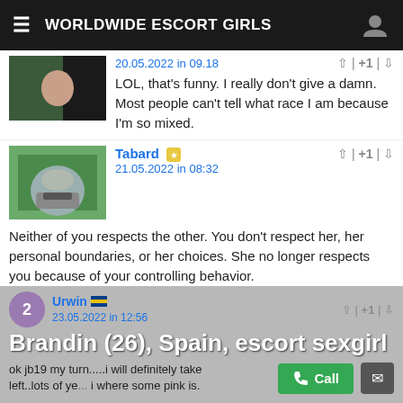WORLDWIDE ESCORT GIRLS
20.05.2022 in 09.18
LOL, that's funny. I really don't give a damn. Most people can't tell what race I am because I'm so mixed.
Tabard
21.05.2022 in 08:32
Neither of you respects the other. You don't respect her, her personal boundaries, or her choices. She no longer respects you because of your controlling behavior.
Dirac
22.05.2022 in 11:33
Hi.I am an intelligent, talented, honest, trustworthy and dedicated, pretty woman in search of a man whom is intelligent and a gentleme.
Urwin
Brandin (26), Spain, escort sexgirl
ok jb19 my turn.....i will definitely take left..lots of ye... i where some pink is.